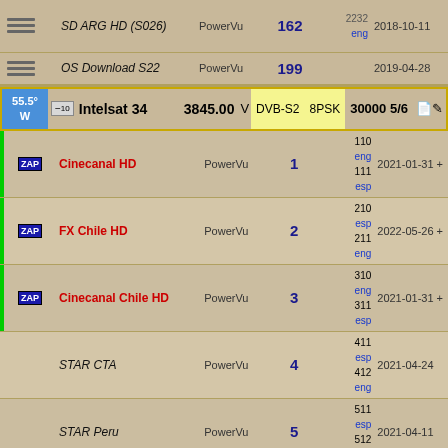|  | Channel | Encryption | SID | PIDs | Date |
| --- | --- | --- | --- | --- | --- |
|  | SD ARG HD (S026) | PowerVu | 162 | 2232 eng | 2018-10-11 |
|  | OS Download S22 | PowerVu | 199 |  | 2019-04-28 |
55.5° W  Intelsat 34  3845.00 V  DVB-S2  8PSK  30000 5/6
| ZAP | Channel | Encryption | SID | PIDs | Date |
| --- | --- | --- | --- | --- | --- |
| ZAP | Cinecanal HD | PowerVu | 1 | 110 eng 111 esp | 2021-01-31 + |
| ZAP | FX Chile HD | PowerVu | 2 | 210 esp 211 eng | 2022-05-26 + |
| ZAP | Cinecanal Chile HD | PowerVu | 3 | 310 eng 311 esp | 2021-01-31 + |
|  | STAR CTA | PowerVu | 4 | 411 esp 412 eng | 2021-04-24 |
|  | STAR Peru | PowerVu | 5 | 511 esp 512 eng | 2021-04-11 |
| ZAP | Cinecanal Colombia HD | PowerVu | 6 | 610 eng 611 esp | 2021-01-31 + |
|  |  | PowerVu | 7 | 811 esp |  |